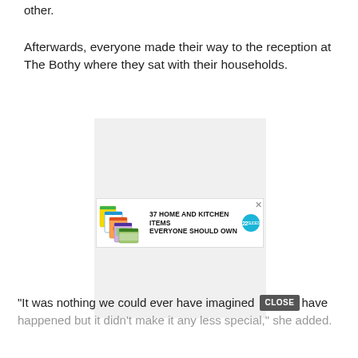other.
Afterwards, everyone made their way to the reception at The Bothy where they sat with their households.
[Figure (screenshot): Advertisement banner showing ziplock bags with text '37 HOME AND KITCHEN ITEMS EVERYONE SHOULD OWN' and a teal badge with '22', with a close X button.]
“It was nothing we could ever have imagined — [CLOSE button] — have happened but it didn’t make it any less special,” she added.